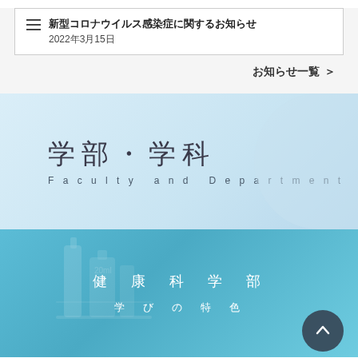新型コロナウイルス感染症に関するお知らせ
2022年3月15日
お知らせ一覧　＞
学部・学科
Faculty and Department
健康科学部
学びの特色